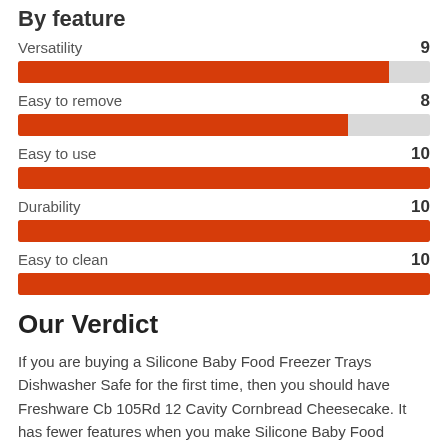By feature
[Figure (bar-chart): By feature]
Our Verdict
If you are buying a Silicone Baby Food Freezer Trays Dishwasher Safe for the first time, then you should have Freshware Cb 105Rd 12 Cavity Cornbread Cheesecake. It has fewer features when you make Silicone Baby Food Freezer Trays Dishwasher Safe comparisons of Freshware